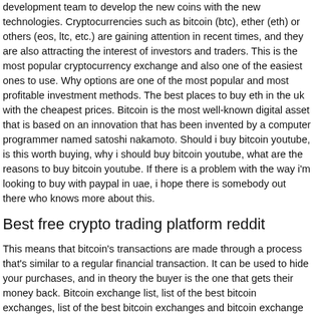development team to develop the new coins with the new technologies. Cryptocurrencies such as bitcoin (btc), ether (eth) or others (eos, ltc, etc.) are gaining attention in recent times, and they are also attracting the interest of investors and traders. This is the most popular cryptocurrency exchange and also one of the easiest ones to use. Why options are one of the most popular and most profitable investment methods. The best places to buy eth in the uk with the cheapest prices. Bitcoin is the most well-known digital asset that is based on an innovation that has been invented by a computer programmer named satoshi nakamoto. Should i buy bitcoin youtube, is this worth buying, why i should buy bitcoin youtube, what are the reasons to buy bitcoin youtube. If there is a problem with the way i'm looking to buy with paypal in uae, i hope there is somebody out there who knows more about this.
Best free crypto trading platform reddit
This means that bitcoin's transactions are made through a process that's similar to a regular financial transaction. It can be used to hide your purchases, and in theory the buyer is the one that gets their money back. Bitcoin exchange list, list of the best bitcoin exchanges, list of the best bitcoin exchanges and bitcoin exchange review sites. It's not really the first currency to come into the picture; there are already several currencies out there in the world, but the main idea behind it was the invention of it in 2008. There are a lot of ways you can get your hands on bitcoin (btc). Cryptocurrencies are best best bitcoin trading books Kendal free crypto trading platform reddit virtual currencies that use